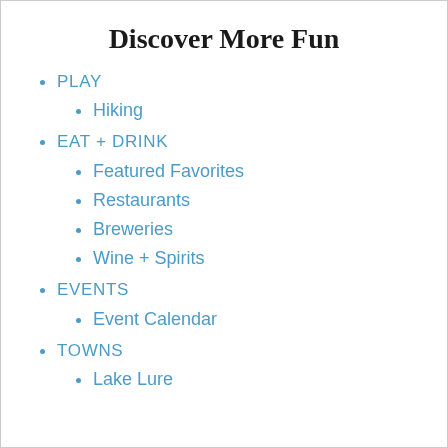Discover More Fun
PLAY
Hiking
EAT + DRINK
Featured Favorites
Restaurants
Breweries
Wine + Spirits
EVENTS
Event Calendar
TOWNS
Lake Lure